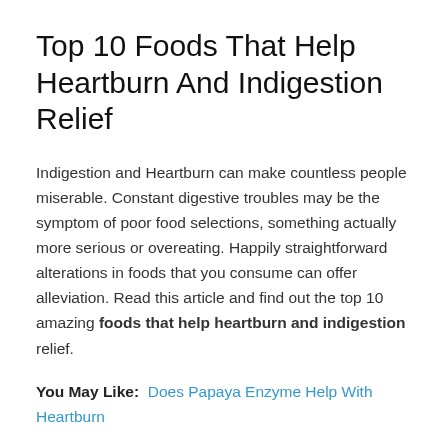Top 10 Foods That Help Heartburn And Indigestion Relief
Indigestion and Heartburn can make countless people miserable. Constant digestive troubles may be the symptom of poor food selections, something actually more serious or overeating. Happily straightforward alterations in foods that you consume can offer alleviation. Read this article and find out the top 10 amazing foods that help heartburn and indigestion relief.
You May Like: Does Papaya Enzyme Help With Heartburn
Sipping Smoothies To Help With Heartburn